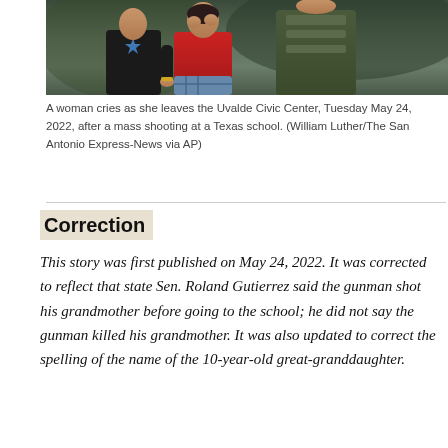[Figure (photo): A woman in a red top cries as she leaves the Uvalde Civic Center, alongside a man in a black Dallas Cowboys shirt and a person in tactical/military gear. Photo taken outdoors.]
A woman cries as she leaves the Uvalde Civic Center, Tuesday May 24, 2022, after a mass shooting at a Texas school. (William Luther/The San Antonio Express-News via AP)
Correction
This story was first published on May 24, 2022. It was corrected to reflect that state Sen. Roland Gutierrez said the gunman shot his grandmother before going to the school; he did not say the gunman killed his grandmother. It was also updated to correct the spelling of the name of the 10-year-old great-granddaughter.